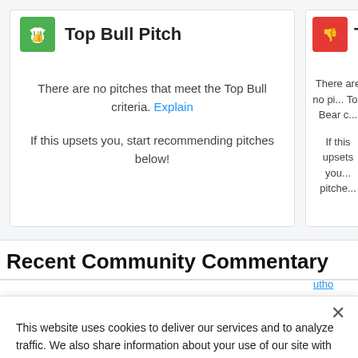Top Bull Pitch
There are no pitches that meet the Top Bull criteria. Explain
If this upsets you, start recommending pitches below!
Top Bear P...
There are no pi... Top Bear c...
If this upsets you... pitche...
Recent Community Commentary
This website uses cookies to deliver our services and to analyze traffic. We also share information about your use of our site with advertising and other partners. Privacy Policy
Got it
Cookie Settings